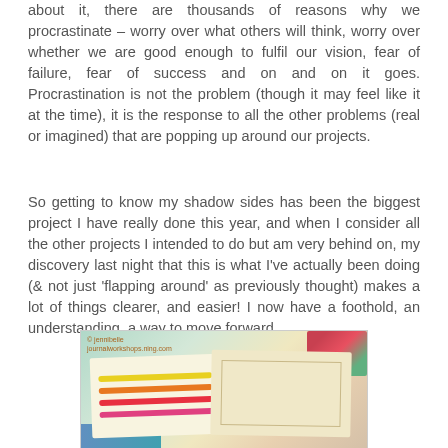about it, there are thousands of reasons why we procrastinate – worry over what others will think, worry over whether we are good enough to fulfil our vision, fear of failure, fear of success and on and on it goes. Procrastination is not the problem (though it may feel like it at the time), it is the response to all the other problems (real or imagined) that are popping up around our projects.
So getting to know my shadow sides has been the biggest project I have really done this year, and when I consider all the other projects I intended to do but am very behind on, my discovery last night that this is what I've actually been doing (& not just 'flapping around' as previously thought) makes a lot of things clearer, and easier! I now have a foothold, an understanding, a way to move forward.
[Figure (photo): Photo of open art journals with colorful wavy/squiggly lines on the left page and a floral sketch on the right page, surrounded by colorful fabric. Watermark reads: © jennibelle journalworkshops.ning.com]